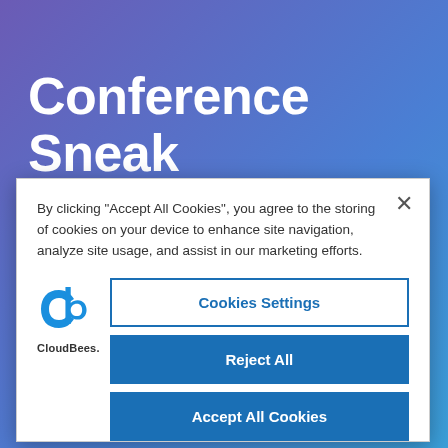Conference Sneak Peek: Q&A with Daniel Ritchie
By clicking "Accept All Cookies", you agree to the storing of cookies on your device to enhance site navigation, analyze site usage, and assist in our marketing efforts.
[Figure (logo): CloudBees logo — stylized blue C and b letterforms above the text 'CloudBees.']
Cookies Settings
Reject All
Accept All Cookies